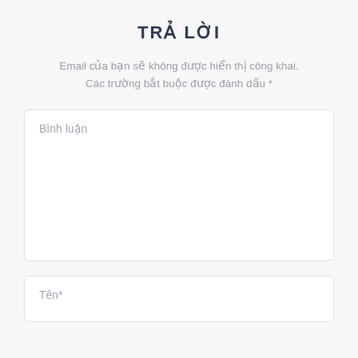TRẢ LỜI
Email của bạn sẽ không được hiển thị công khai. Các trường bắt buộc được đánh dấu *
Bình luận
Tên*